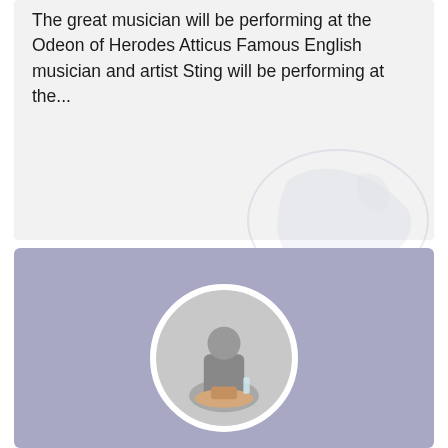The great musician will be performing at the Odeon of Herodes Atticus Famous English musician and artist Sting will be performing at the...
[Figure (photo): Circular portrait photo of a person seated at a small round table, shown from above/side angle, with a glass on the table, set against a muted purple-blue card background]
Hellenes Abroad
Emphasis magazine features interviews with successful hellenes abroad...